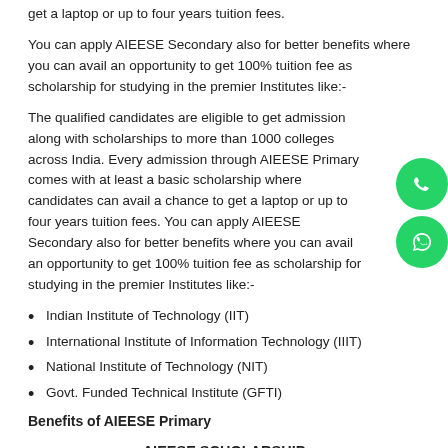get a laptop or up to four years tuition fees.
You can apply AIEESE Secondary also for better benefits where you can avail an opportunity to get 100% tuition fee as scholarship for studying in the premier Institutes like:-
The qualified candidates are eligible to get admission along with scholarships to more than 1000 colleges across India. Every admission through AIEESE Primary comes with at least a basic scholarship where candidates can avail a chance to get a laptop or up to four years tuition fees. You can apply AIEESE Secondary also for better benefits where you can avail an opportunity to get 100% tuition fee as scholarship for studying in the premier Institutes like:-
Indian Institute of Technology (IIT)
International Institute of Information Technology (IIIT)
National Institute of Technology (NIT)
Govt. Funded Technical Institute (GFTI)
Benefits of AIEESE Primary
AIEESE SCHOLARSHIP PROGRAM